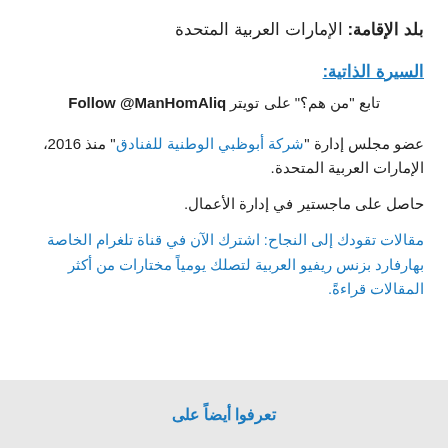بلد الإقامة: الإمارات العربية المتحدة
السيرة الذاتية:
تابع "من هم؟" على تويتر Follow @ManHomAliq
عضو مجلس إدارة "شركة أبوظبي الوطنية للفنادق" منذ 2016، الإمارات العربية المتحدة.
حاصل على ماجستير في إدارة الأعمال.
مقالات تقودك إلى النجاح: اشترك الآن في قناة تلغرام الخاصة بهارفارد بزنس ريفيو العربية لتصلك يومياً مختارات من أكثر المقالات قراءةً.
تعرفوا أيضاً على